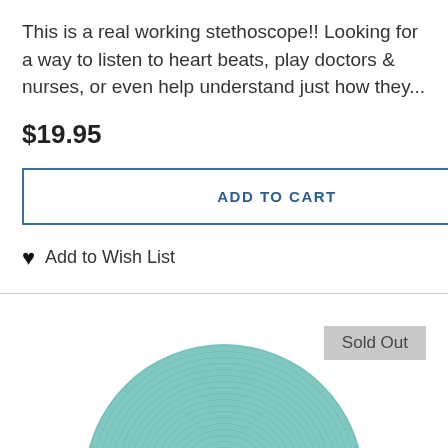This is a real working stethoscope!! Looking for a way to listen to heart beats, play doctors & nurses, or even help understand just how they...
$19.95
ADD TO CART
Add to Wish List
[Figure (other): Back to top arrow button — black square with white upward chevron]
[Figure (other): Sold Out badge — gray rectangular label with text 'Sold Out']
[Figure (photo): Partial top view of a round teal/mint colored product (possibly a balance disc or brush mat) with a textured surface of small spiky protrusions, shown cropped at the bottom of the page]